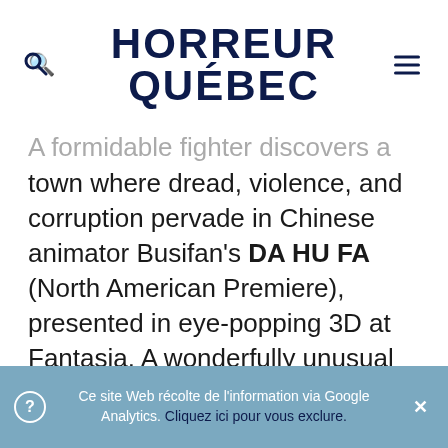HORREUR QUÉBEC
A formidable fighter discovers a hidden town where dread, violence, and corruption pervade in Chinese animator Busifan's DA HU FA (North American Premiere), presented in eye-popping 3D at Fantasia. A wonderfully unusual and defiant work of rambunctious, rebellious fantasy animation, this beautifully-animated adventure has been largely
Ce site Web récolte de l'information via Google Analytics. Cliquez ici pour vous exclure.